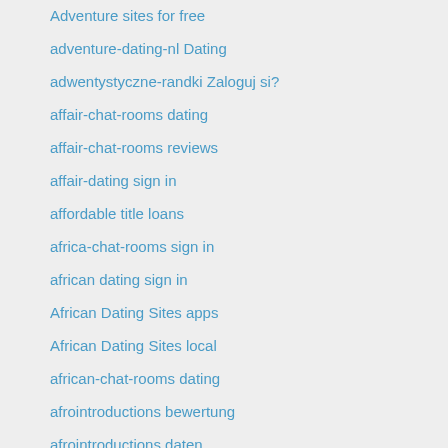Adventure sites for free
adventure-dating-nl Dating
adwentystyczne-randki Zaloguj si?
affair-chat-rooms dating
affair-chat-rooms reviews
affair-dating sign in
affordable title loans
africa-chat-rooms sign in
african dating sign in
African Dating Sites apps
African Dating Sites local
african-chat-rooms dating
afrointroductions bewertung
afrointroductions daten
afrointroductions mobile